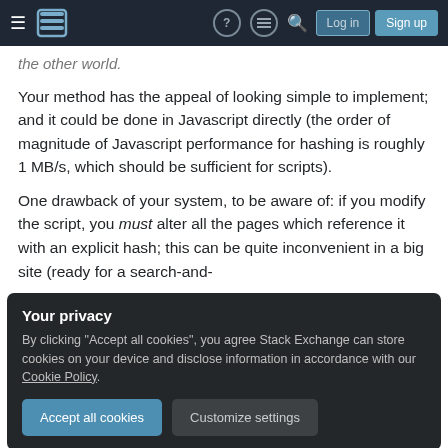Stack Exchange navigation bar with Log in and Sign up buttons
the other world.
Your method has the appeal of looking simple to implement; and it could be done in Javascript directly (the order of magnitude of Javascript performance for hashing is roughly 1 MB/s, which should be sufficient for scripts).
One drawback of your system, to be aware of: if you modify the script, you must alter all the pages which reference it with an explicit hash; this can be quite inconvenient in a big site (ready for a search-and-
Your privacy
By clicking "Accept all cookies", you agree Stack Exchange can store cookies on your device and disclose information in accordance with our Cookie Policy.